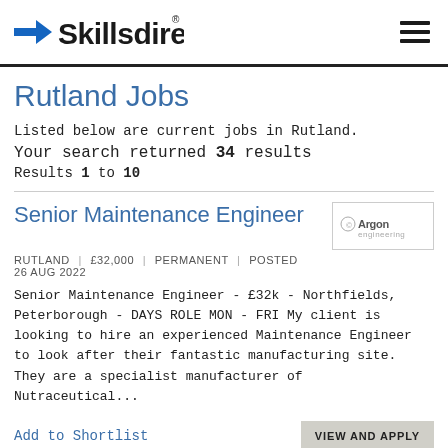[Figure (logo): Skillsdirect logo with blue arrow and dark bold text, with registered trademark symbol]
Rutland Jobs
Listed below are current jobs in Rutland.
Your search returned 34 results
Results 1 to 10
Senior Maintenance Engineer
RUTLAND | £32,000 | PERMANENT | POSTED 26 AUG 2022
Senior Maintenance Engineer - £32k - Northfields, Peterborough - DAYS ROLE MON - FRI My client is looking to hire an experienced Maintenance Engineer to look after their fantastic manufacturing site. They are a specialist manufacturer of Nutraceutical...
Add to Shortlist
VIEW AND APPLY